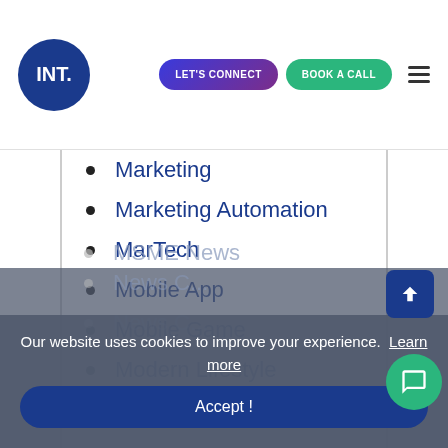INT. | LET'S CONNECT | BOOK A CALL
Marketing
Marketing Automation
MarTech
Mobile App
Mobile Game
Modern Lifestyle
MSME Industry
MSME News
Our website uses cookies to improve your experience. Learn more
Accept !